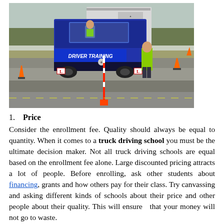[Figure (photo): A blue Mercedes truck labeled 'DRIVER TRAINING' with L-plates, on a training ground with traffic cones. A man in a high-visibility vest stands nearby. Another vehicle is behind the truck. Open field and trees visible in background.]
1.   Price
Consider the enrollment fee. Quality should always be equal to quantity. When it comes to a truck driving school you must be the ultimate decision maker. Not all truck driving schools are equal based on the enrollment fee alone. Large discounted pricing attracts a lot of people. Before enrolling, ask other students about financing, grants and how others pay for their class. Try canvassing and asking different kinds of schools about their price and other people about their quality. This will ensure  that your money will not go to waste.